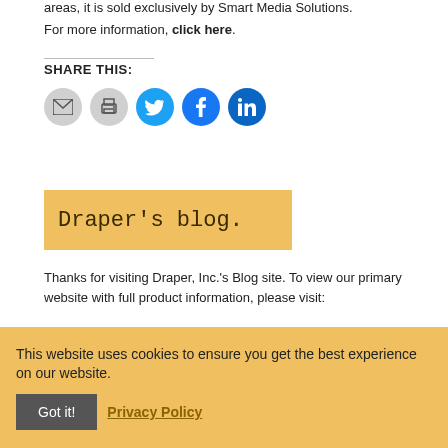areas, it is sold exclusively by Smart Media Solutions.
For more information, click here.
SHARE THIS:
[Figure (other): Social sharing icons: email, print, Twitter, Facebook, LinkedIn]
[Figure (illustration): Draper's blog. banner with golden/yellow background and typewriter font]
Thanks for visiting Draper, Inc.'s Blog site. To view our primary website with full product information, please visit:
DRAPERINC.COM
This website uses cookies to ensure you get the best experience on our website.  Got it!  Privacy Policy